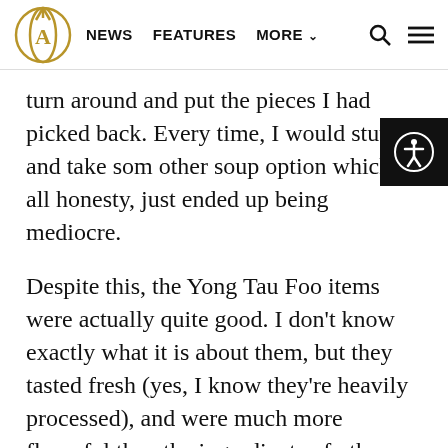NEWS  FEATURES  MORE
turn around and put the pieces I had picked back. Every time, I would stutter and take some other soup option which, in all honesty, just ended up being mediocre.
Despite this, the Yong Tau Foo items were actually quite good. I don’t know exactly what it is about them, but they tasted fresh (yes, I know they’re heavily processed), and were much more flavorful than the ingredients of other stalls I have attended outside NUS.
Western place